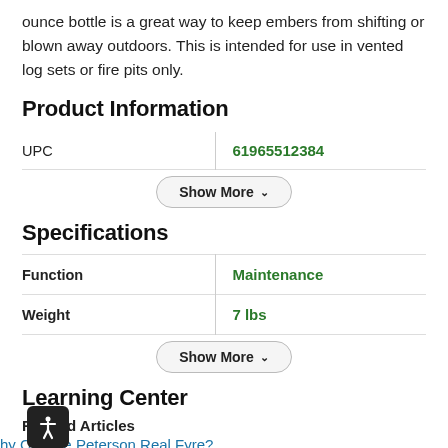ounce bottle is a great way to keep embers from shifting or blown away outdoors. This is intended for use in vented log sets or fire pits only.
Product Information
|  |  |
| --- | --- |
| UPC | 61965512384 |
Specifications
|  |  |
| --- | --- |
| Function | Maintenance |
| Weight | 7 lbs |
Learning Center
Related Articles
hy Choose Peterson Real Fyre?